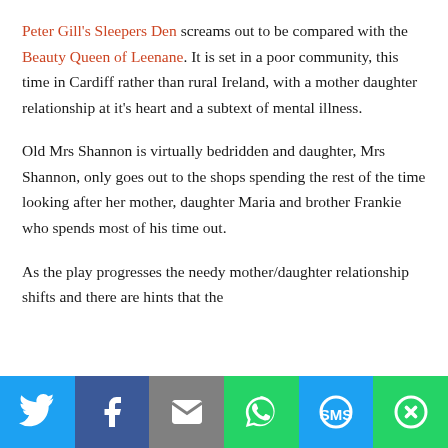Peter Gill's Sleepers Den screams out to be compared with the Beauty Queen of Leenane. It is set in a poor community, this time in Cardiff rather than rural Ireland, with a mother daughter relationship at it's heart and a subtext of mental illness.
Old Mrs Shannon is virtually bedridden and daughter, Mrs Shannon, only goes out to the shops spending the rest of the time looking after her mother, daughter Maria and brother Frankie who spends most of his time out.
As the play progresses the needy mother/daughter relationship shifts and there are hints that the
[Figure (infographic): Social sharing bar with icons for Twitter, Facebook, Email, WhatsApp, SMS, and More]